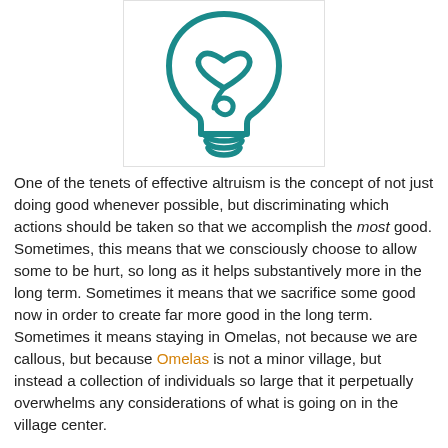[Figure (logo): A teal/dark-cyan outline icon of a lightbulb with a heart-shaped filament inside, rendered in a continuous line-art style.]
One of the tenets of effective altruism is the concept of not just doing good whenever possible, but discriminating which actions should be taken so that we accomplish the most good. Sometimes, this means that we consciously choose to allow some to be hurt, so long as it helps substantively more in the long term. Sometimes it means that we sacrifice some good now in order to create far more good in the long term. Sometimes it means staying in Omelas, not because we are callous, but because Omelas is not a minor village, but instead a collection of individuals so large that it perpetually overwhelms any considerations of what is going on in the village center.